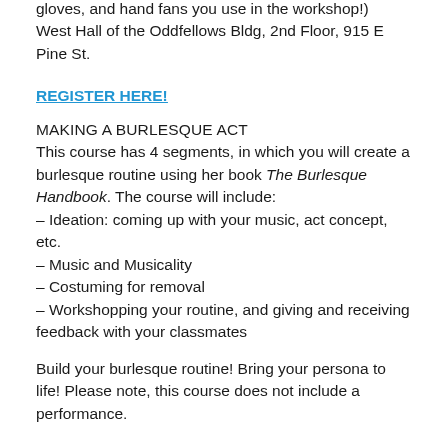gloves, and hand fans you use in the workshop!) West Hall of the Oddfellows Bldg, 2nd Floor, 915 E Pine St.
REGISTER HERE!
MAKING A BURLESQUE ACT
This course has 4 segments, in which you will create a burlesque routine using her book The Burlesque Handbook. The course will include:
– Ideation: coming up with your music, act concept, etc.
– Music and Musicality
– Costuming for removal
– Workshopping your routine, and giving and receiving feedback with your classmates
Build your burlesque routine! Bring your persona to life! Please note, this course does not include a performance.